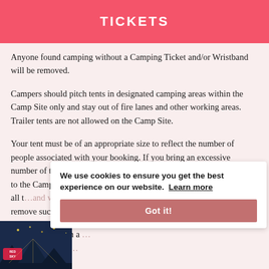TICKETS
Anyone found camping without a Camping Ticket and/or Wristband will be removed.
Campers should pitch tents in designated camping areas within the Camp Site only and stay out of fire lanes and other working areas.  Trailer tents are not allowed on the Camp Site.
Your tent must be of an appropriate size to reflect the number of people associated with your booking. If you bring an excessive number of tents and/or any oversized tent(s), you may be refused entry to the Camp Site and/or we may ask you to remove or relocate any or all t… and we reserve the right to remove such ourse…
You may bring, in a … ture with a ma…
We use cookies to ensure you get the best experience on our website. Learn more
Got it!